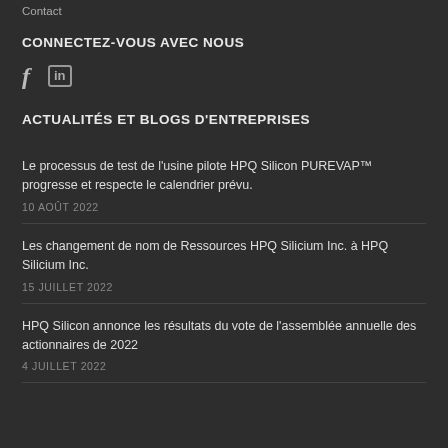Contact
CONNECTEZ-VOUS AVEC NOUS
[Figure (other): Social media icons: Facebook (f) and LinkedIn (in)]
ACTUALITÉS ET BLOGS D'ENTREPRISES
Le processus de test de l'usine pilote HPQ Silicon PUREVAP™ progresse et respecte le calendrier prévu.
10 AOÛT 2022
Les changement de nom de Ressources HPQ Silicium Inc. à HPQ Silicium Inc.
15 JUILLET 2022
HPQ Silicon annonce les résultats du vote de l'assemblée annuelle des actionnaires de 2022
4 JUILLET 2022